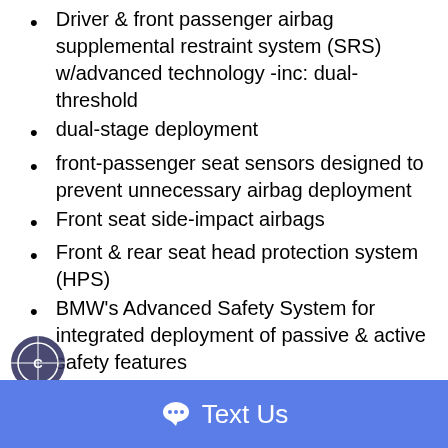Driver & front passenger airbag supplemental restraint system (SRS) w/advanced technology -inc: dual-threshold
dual-stage deployment
front-passenger seat sensors designed to prevent unnecessary airbag deployment
Front seat side-impact airbags
Front & rear seat head protection system (HPS)
BMW's Advanced Safety System for integrated deployment of passive & active safety features
Crash sensor that activates battery safety terminal disconnect of alternator
fuel pump & starter from battery
automatically unlocks doors
turns on hazard & interior lights
3-point safety belts w/force limiters & head restraints at all seating positions